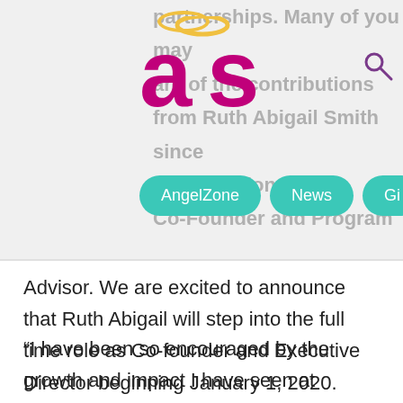[Figure (logo): AngelStreet 'as' logo with pink/magenta letters and yellow halo above]
partnerships. Many of you may are of the contributions from Ruth Abigail Smith since the inception of ... Co-Founder and Program
[Figure (screenshot): Navigation bar with teal rounded pills: AngelZone, News, Gi...]
Advisor. We are excited to announce that Ruth Abigail will step into the full time role as Co-founder and Executive Director beginning January 1, 2020.
“I have been so encouraged by the growth and impact I have seen at AngelStreet the past six